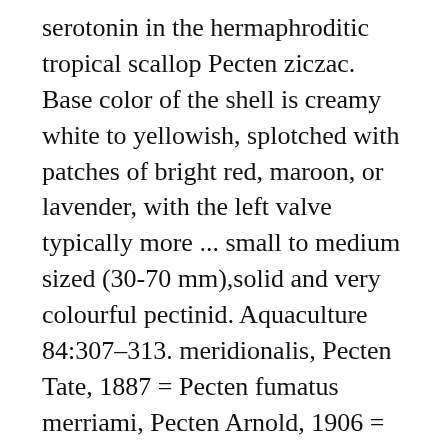serotonin in the hermaphroditic tropical scallop Pecten ziczac. Base color of the shell is creamy white to yellowish, splotched with patches of bright red, maroon, or lavender, with the left valve typically more ... small to medium sized (30-70 mm),solid and very colourful pectinid. Aquaculture 84:307-313. meridionalis, Pecten Tate, 1887 = Pecten fumatus merriami, Pecten Arnold, 1906 = Patinopecten caurinus midwayensis, Chlamys Habe & Okutani, 1968 = Laevichlamys cuneata Pecten gibbus fossils are similar to sea shells we might find today. In plaats daarvan wordt het dier omgeven door een grote lichaamsplooi – de mantel – die bij de meeste soorten een uitwendig skelet of... The name Pecten is from